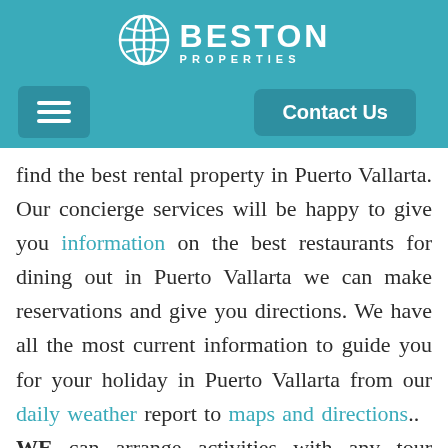[Figure (logo): Beston Properties logo with circular globe icon and white text on teal background]
find the best rental property in Puerto Vallarta. Our concierge services will be happy to give you information on the best restaurants for dining out in Puerto Vallarta we can make reservations and give you directions. We have all the most current information to guide you for your holiday in Puerto Vallarta from our daily weather report to maps and directions..  WE can arrange activities with any tour company including Vallarta Adventures, one of the most popular